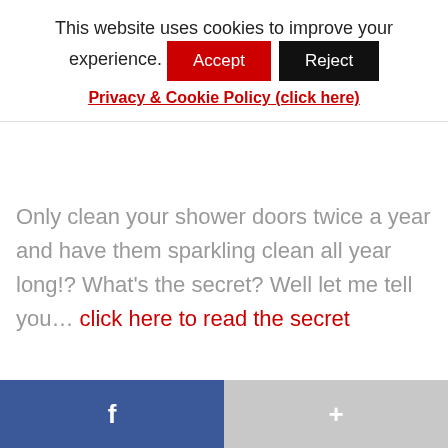This website uses cookies to improve your experience.
Accept | Reject
Privacy & Cookie Policy (click here)
Only clean your shower doors twice a year and have them sparkling clean all year long!? What's the secret? Well let me tell you… click here to read the secret
Email Me:
f
+